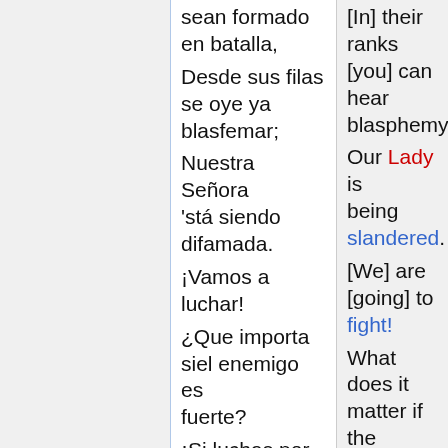sean formado en batalla, Desde sus filas se oye ya blasfemar; Nuestra Señora 'stá siendo difamada. ¡Vamos a luchar! ¿Que importa siel enemigo es fuerte? ¡Si luchas por la'verdad! La'Virgen del combate, ¡Pronto, pronto los'aplastará!
[In] their ranks [you] can hear blasphemy; Our Lady is being slandered. [We] are [going] to fight! What does it matter if the enemy is strong? If [you] fight for the truth! The Virgin [of the war], Soon, soon [she] will crush them! Arm your soul